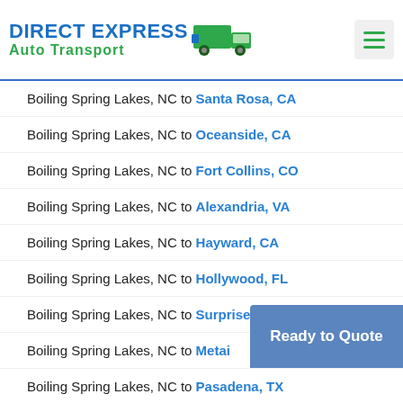DIRECT EXPRESS Auto Transport
Boiling Spring Lakes, NC to Santa Rosa, CA
Boiling Spring Lakes, NC to Oceanside, CA
Boiling Spring Lakes, NC to Fort Collins, CO
Boiling Spring Lakes, NC to Alexandria, VA
Boiling Spring Lakes, NC to Hayward, CA
Boiling Spring Lakes, NC to Hollywood, FL
Boiling Spring Lakes, NC to Surprise, AZ
Boiling Spring Lakes, NC to Metai...
Boiling Spring Lakes, NC to Pasadena, TX